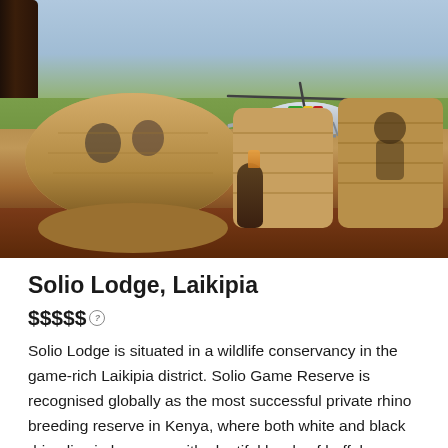[Figure (photo): Outdoor terrace or lodge deck with wicker sofa and lounge chairs in foreground, two guests seated facing a helicopter landed on savanna grassland in background, African landscape with trees and green bush.]
Solio Lodge, Laikipia
$$$$$
Solio Lodge is situated in a wildlife conservancy in the game-rich Laikipia district. Solio Game Reserve is recognised globally as the most successful private rhino breeding reserve in Kenya, where both white and black rhino live in harmony with plentiful herds of buffalo, zebra,